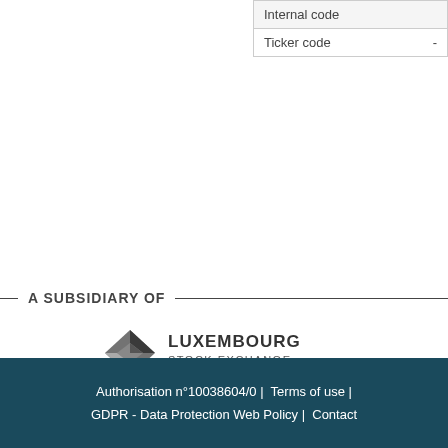|  |  |
| --- | --- |
| Internal code |  |
| Ticker code | - |
— A SUBSIDIARY OF —
[Figure (logo): Luxembourg Stock Exchange logo — stylized arrow/chart icon in dark grey with text LUXEMBOURG STOCK EXCHANGE]
Authorisation n°10038604/0 |  Terms of use |  GDPR - Data Protection Web Policy |  Contact